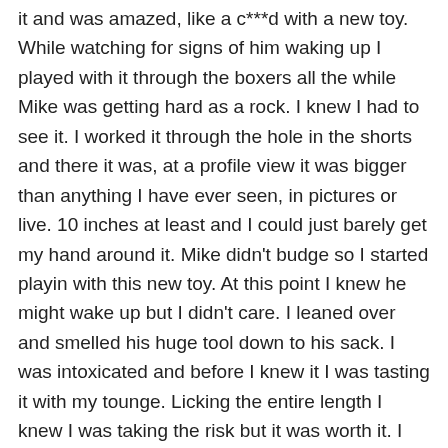it and was amazed, like a c***d with a new toy. While watching for signs of him waking up I played with it through the boxers all the while Mike was getting hard as a rock. I knew I had to see it. I worked it through the hole in the shorts and there it was, at a profile view it was bigger than anything I have ever seen, in pictures or live. 10 inches at least and I could just barely get my hand around it. Mike didn't budge so I started playin with this new toy. At this point I knew he might wake up but I didn't care. I leaned over and smelled his huge tool down to his sack. I was intoxicated and before I knew it I was tasting it with my tounge. Licking the entire length I knew I was taking the risk but it was worth it. I started sucking him off the best I knew how. I heard a moan every now and then but was too busy tryin to see how